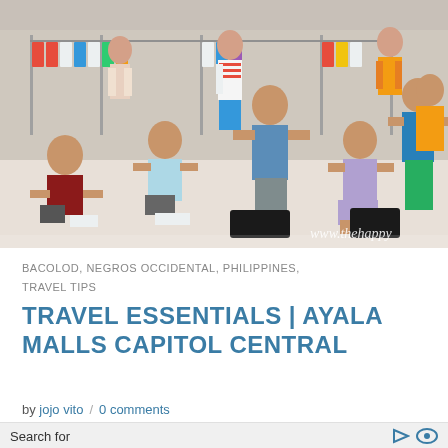[Figure (photo): Group of people posing inside a clothing retail store/mall with mannequins and clothing racks in the background. Watermark reads 'www.thehappy' in cursive white text at bottom right.]
BACOLOD, NEGROS OCCIDENTAL, PHILIPPINES, TRAVEL TIPS
TRAVEL ESSENTIALS | AYALA MALLS CAPITOL CENTRAL
by jojo vito / 0 comments
Search for